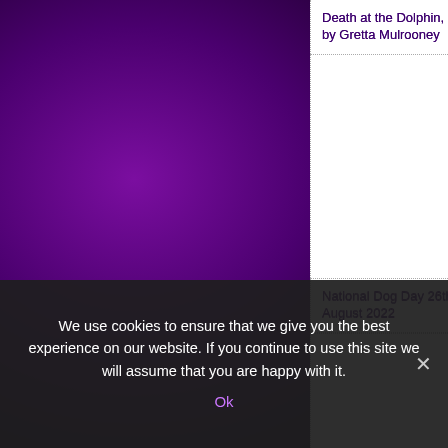Death at the Dolphin, by Gretta Mulrooney
National Dog Day 26th August 2022
The Favorite Child, by Cathryn Grant
Perfect Parents, by Ellie is (partially visible)
Holiday (partially visible)
We use cookies to ensure that we give you the best experience on our website. If you continue to use this site we will assume that you are happy with it.
Ok